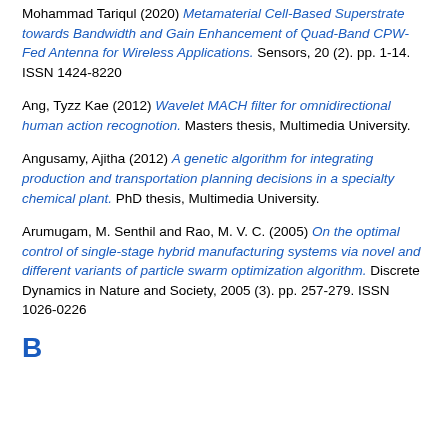Mohammad Tariqul (2020) Metamaterial Cell-Based Superstrate towards Bandwidth and Gain Enhancement of Quad-Band CPW-Fed Antenna for Wireless Applications. Sensors, 20 (2). pp. 1-14. ISSN 1424-8220
Ang, Tyzz Kae (2012) Wavelet MACH filter for omnidirectional human action recognotion. Masters thesis, Multimedia University.
Angusamy, Ajitha (2012) A genetic algorithm for integrating production and transportation planning decisions in a specialty chemical plant. PhD thesis, Multimedia University.
Arumugam, M. Senthil and Rao, M. V. C. (2005) On the optimal control of single-stage hybrid manufacturing systems via novel and different variants of particle swarm optimization algorithm. Discrete Dynamics in Nature and Society, 2005 (3). pp. 257-279. ISSN 1026-0226
B